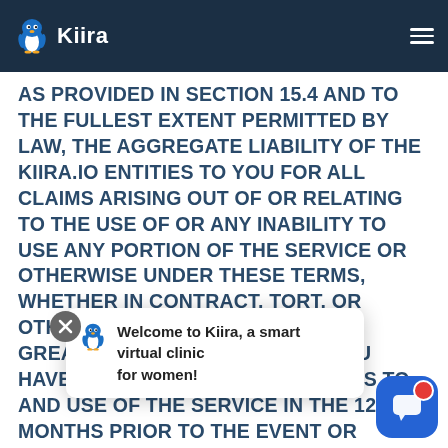Kiira — Navigation bar with logo and hamburger menu
AS PROVIDED IN SECTION 15.4 AND TO THE FULLEST EXTENT PERMITTED BY LAW, THE AGGREGATE LIABILITY OF THE KIIRA.IO ENTITIES TO YOU FOR ALL CLAIMS ARISING OUT OF OR RELATING TO THE USE OF OR ANY INABILITY TO USE ANY PORTION OF THE SERVICE OR OTHERWISE UNDER THESE TERMS, WHETHER IN CONTRACT, TORT, OR OTHERWISE, IS LIMITED TO THE GREATER OF: (A) THE AMOUNT YOU HAVE PAID TO KIIRA.IO FOR ACCESS TO AND USE OF THE SERVICE IN THE 12 MONTHS PRIOR TO THE EVENT OR CIRCUMSTANCE GIVING RISE TO CLAIM; OR (B) $10,000.EACH PROVISION OF THESE TERMS THAT PROVIDES FOR A LIMITATION OF LIABILITY, DISCLAIMER OF WARRANTIES, OR EXCLUSION OF DAMAGES IS INTENDED TO AND DOES ALLOCATE THE RISKS BETWEEN THE PARTIES UNDER THESE TERMS. THE LIMITATIONS IN THIS SECTION APPLY BECAUSE OF THESE TERMS. SOME JURISDICTIONS DO NOT ALLOW THE LIMITATION OF LIABILITY FOR PERSONAL INJURY, OR OF INCIDENTAL OR CONSEQUENTIAL DAMAGES, SO SUCH LIMITATION MAY NOT APPLY TO YOU IN THOSE JURISDICTIONS OR AS TO THE RESPECTIVE PARTIES. EACH OF THESE PROVISIONS IS SEVERABLE
[Figure (screenshot): Chat popup with Kiira penguin icon and text 'Welcome to Kiira, a smart virtual clinic for women!']
[Figure (screenshot): Blue chat widget button in bottom right corner with red notification dot]